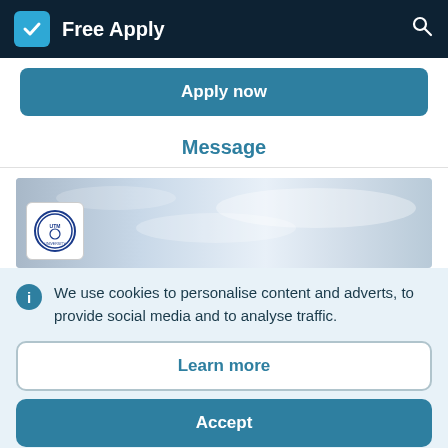Free Apply
Apply now
Message
[Figure (photo): Banner image with sky/background and UTM university logo badge in bottom left corner]
We use cookies to personalise content and adverts, to provide social media and to analyse traffic.
Learn more
Accept